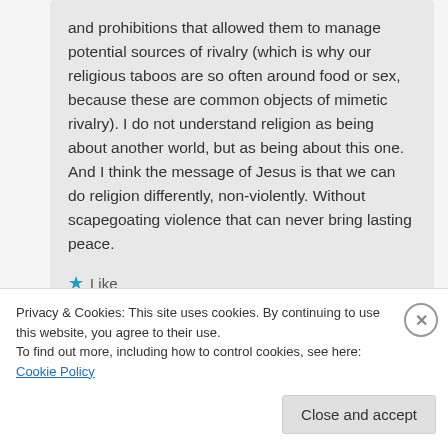and prohibitions that allowed them to manage potential sources of rivalry (which is why our religious taboos are so often around food or sex, because these are common objects of mimetic rivalry). I do not understand religion as being about another world, but as being about this one. And I think the message of Jesus is that we can do religion differently, non-violently. Without scapegoating violence that can never bring lasting peace.
★ Like
Privacy & Cookies: This site uses cookies. By continuing to use this website, you agree to their use. To find out more, including how to control cookies, see here: Cookie Policy
Close and accept